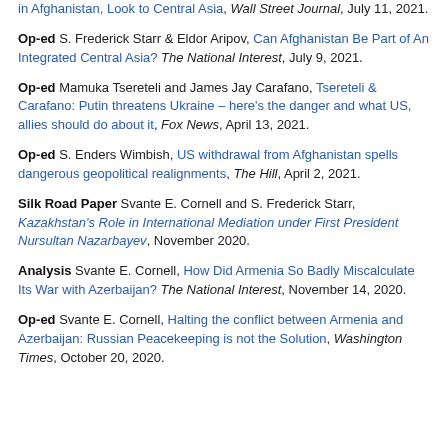in Afghanistan, Look to Central Asia, Wall Street Journal, July 11, 2021.
Op-ed S. Frederick Starr & Eldor Aripov, Can Afghanistan Be Part of An Integrated Central Asia? The National Interest, July 9, 2021.
Op-ed Mamuka Tsereteli and James Jay Carafano, Tsereteli & Carafano: Putin threatens Ukraine – here's the danger and what US, allies should do about it, Fox News, April 13, 2021.
Op-ed S. Enders Wimbish, US withdrawal from Afghanistan spells dangerous geopolitical realignments, The Hill, April 2, 2021.
Silk Road Paper Svante E. Cornell and S. Frederick Starr, Kazakhstan's Role in International Mediation under First President Nursultan Nazarbayev, November 2020.
Analysis Svante E. Cornell, How Did Armenia So Badly Miscalculate Its War with Azerbaijan? The National Interest, November 14, 2020.
Op-ed Svante E. Cornell, Halting the conflict between Armenia and Azerbaijan: Russian Peacekeeping is not the Solution, Washington Times, October 20, 2020.